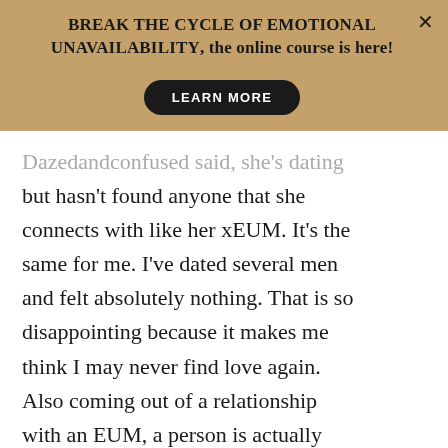BREAK THE CYCLE OF EMOTIONAL UNAVAILABILITY, the online course is here! LEARN MORE
Dazedandconfused said, she's dating but hasn't found anyone that she connects with like her xEUM. It's the same for me. I've dated several men and felt absolutely nothing. That is so disappointing because it makes me think I may never find love again. Also coming out of a relationship with an EUM, a person is actually shell shocked. I'm not the same